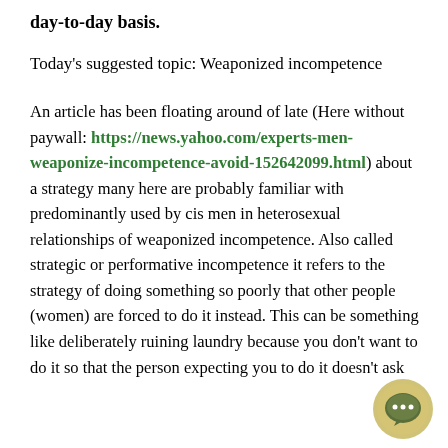day-to-day basis.
Today's suggested topic: Weaponized incompetence
An article has been floating around of late (Here without paywall: https://news.yahoo.com/experts-men-weaponize-incompetence-avoid-152642099.html) about a strategy many here are probably familiar with predominantly used by cis men in heterosexual relationships of weaponized incompetence. Also called strategic or performative incompetence it refers to the strategy of doing something so poorly that other people (women) are forced to do it instead. This can be something like deliberately ruining laundry because you don't want to do it so that the person expecting you to do it doesn't ask
[Figure (illustration): A circular chat bubble icon with three dots inside, styled in green/olive tones with a decorative border]